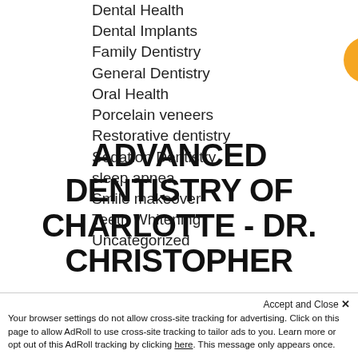Dental Health
Dental Implants
Family Dentistry
General Dentistry
Oral Health
Porcelain veneers
Restorative dentistry
Sedation Dentistry
sleep apnea
Smile makeover
Teeth Whitening
Uncategorized
[Figure (other): Live Chat button — orange rounded rectangle with black circle chat icon and white text LIVE CHAT]
ADVANCED DENTISTRY OF CHARLOTTE - DR. CHRISTOPHER
Accept and Close ×
Your browser settings do not allow cross-site tracking for advertising. Click on this page to allow AdRoll to use cross-site tracking to tailor ads to you. Learn more or opt out of this AdRoll tracking by clicking here. This message only appears once.